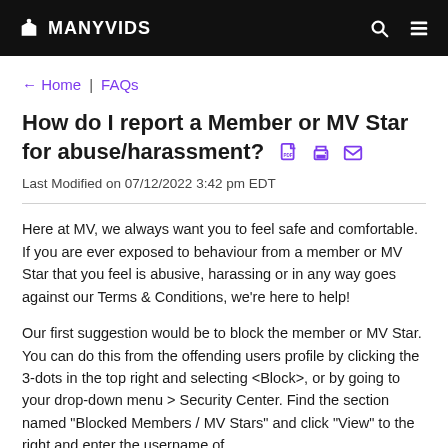MANYVIDS
← Home | FAQs
How do I report a Member or MV Star for abuse/harassment?
Last Modified on 07/12/2022 3:42 pm EDT
Here at MV, we always want you to feel safe and comfortable. If you are ever exposed to behaviour from a member or MV Star that you feel is abusive, harassing or in any way goes against our Terms & Conditions, we're here to help!
Our first suggestion would be to block the member or MV Star. You can do this from the offending users profile by clicking the 3-dots in the top right and selecting <Block>, or by going to your drop-down menu > Security Center. Find the section named "Blocked Members / MV Stars" and click "View" to the right and enter the username of